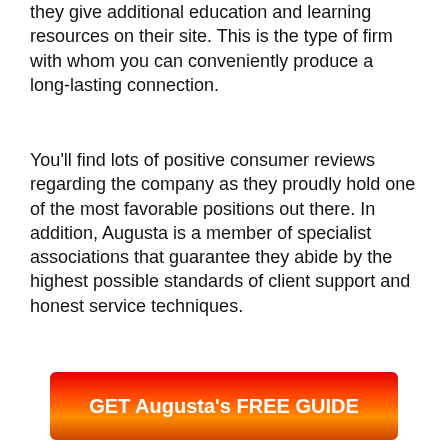they give additional education and learning resources on their site. This is the type of firm with whom you can conveniently produce a long-lasting connection.
You'll find lots of positive consumer reviews regarding the company as they proudly hold one of the most favorable positions out there. In addition, Augusta is a member of specialist associations that guarantee they abide by the highest possible standards of client support and honest service techniques.
[Figure (other): Red to orange gradient button with white bold text reading 'GET Augusta's FREE GUIDE']